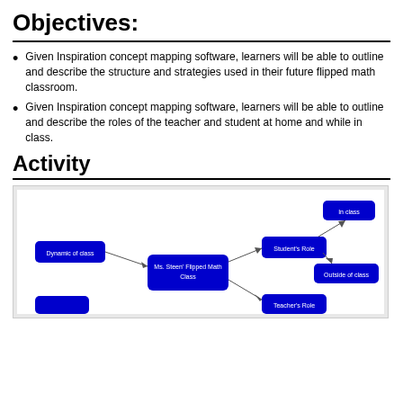Objectives:
Given Inspiration concept mapping software, learners will be able to outline and describe the structure and strategies used in their future flipped math classroom.
Given Inspiration concept mapping software, learners will be able to outline and describe the roles of the teacher and student at home and while in class.
Activity
[Figure (flowchart): Concept map showing Ms. Steen' Flipped Math Class as central node, connected to Dynamic of class, Student's Role (linked to In class and Outside of class), and Teacher's Role.]